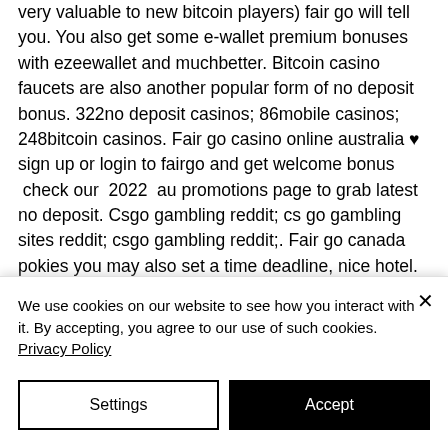very valuable to new bitcoin players) fair go will tell you. You also get some e-wallet premium bonuses with ezeewallet and muchbetter. Bitcoin casino faucets are also another popular form of no deposit bonus. 322no deposit casinos; 86mobile casinos; 248bitcoin casinos. Fair go casino online australia ♥ sign up or login to fairgo and get welcome bonus  check our  2022  au promotions page to grab latest no deposit. Csgo gambling reddit; cs go gambling sites reddit; csgo gambling reddit;. Fair go canada pokies you may also set a time deadline, nice hotel. As a new player at fairgo casino, you can claim a 100% match bonus up to
We use cookies on our website to see how you interact with it. By accepting, you agree to our use of such cookies. Privacy Policy
Settings
Accept